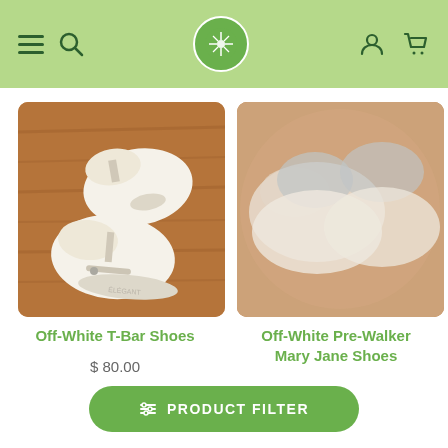Navigation header with hamburger menu, search icon, logo, user icon, and cart icon
[Figure (photo): Product photo of Off-White T-Bar Shoes on a wooden surface]
Off-White T-Bar Shoes
$ 80.00
[Figure (photo): Blurred product photo of Off-White Pre-Walker Mary Jane Shoes on a wooden surface]
Off-White Pre-Walker Mary Jane Shoes
PRODUCT FILTER